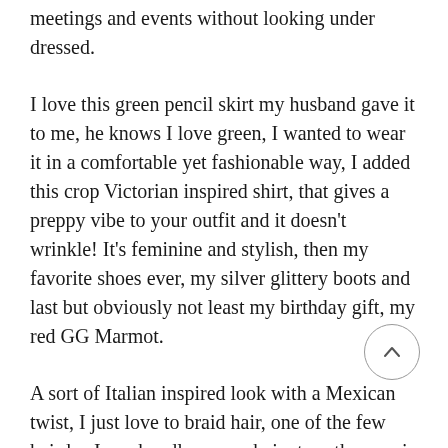meetings and events without looking under dressed.
I love this green pencil skirt my husband gave it to me, he knows I love green, I wanted to wear it in a comfortable yet fashionable way, I added this crop Victorian inspired shirt, that gives a preppy vibe to your outfit and it doesn't wrinkle! It's feminine and stylish, then my favorite shoes ever, my silver glittery boots and last but obviously not least my birthday gift, my red GG Marmot.
A sort of Italian inspired look with a Mexican twist, I just love to braid hair, one of the few hairdos I can handle... your hair stays the way is